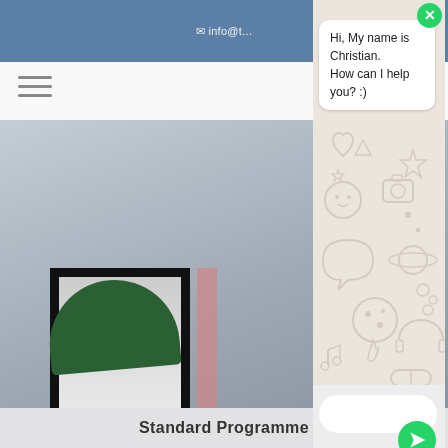[Figure (screenshot): Website screenshot showing a navigation bar with email address, hamburger menu, and a photo background with a framed picture, pink accent, and green plant]
Hi, My name is Christian.
How can I help you? :)
Standard Programme